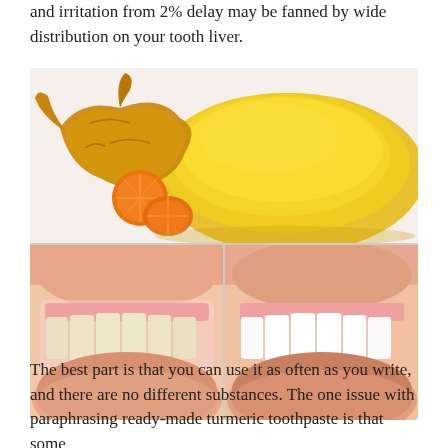and irritation from 2% delay may be fanned by wide distribution on your tooth liver.
[Figure (photo): Top: turmeric root and orange slices next to a pile of yellow turmeric powder on a white background. Bottom: two side-by-side photos of smiling mouths, left showing slightly yellowed teeth and right showing bright white teeth, illustrating a before/after tooth whitening comparison.]
The best part is that you can use it as often as you write, and there are no different substances. The one issue with paraphrasing ready-made turmeric toothpaste is that some